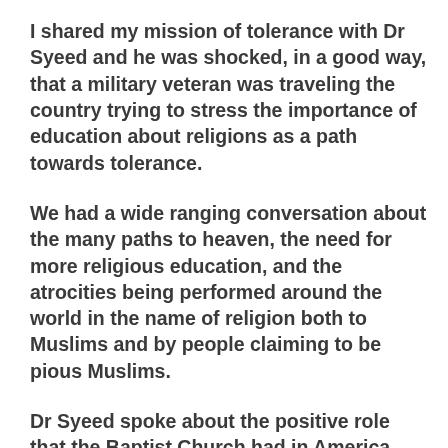I shared my mission of tolerance with Dr Syeed and he was shocked, in a good way, that a military veteran was traveling the country trying to stress the importance of education about religions as a path towards tolerance.
We had a wide ranging conversation about the many paths to heaven, the need for more religious education, and the atrocities being performed around the world in the name of religion both to Muslims and by people claiming to be pious Muslims.
Dr Syeed spoke about the positive role that the Baptist Church had in America ensuring that the US became a secular nation that strongly believed in the separation of church and state. He and Dr Babar have both seen first hand what